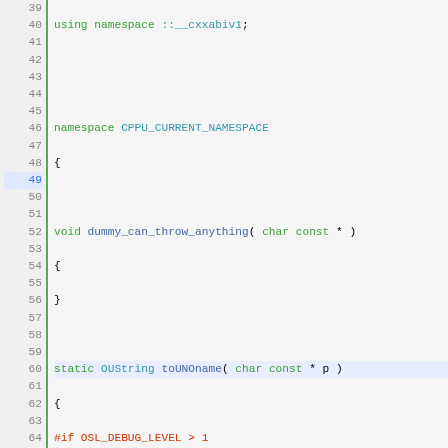[Figure (screenshot): Source code editor screenshot showing C++ code lines 39-72 with syntax highlighting. Green left border, line numbers column, code with colored keywords.]